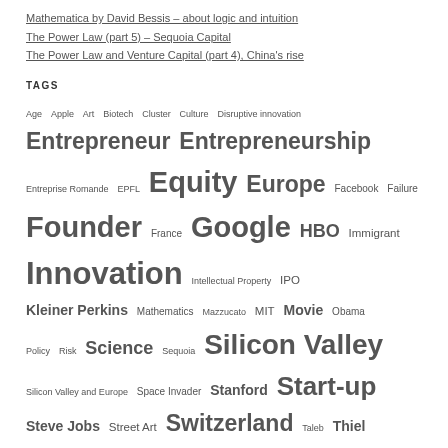Mathematica by David Bessis – about logic and intuition
The Power Law (part 5) – Sequoia Capital
The Power Law and Venture Capital (part 4), China's rise
TAGS
Age Apple Art Biotech Cluster Culture Disruptive innovation Entrepreneur Entrepreneurship Entreprise Romande EPFL Equity Europe Facebook Failure Founder France Google HBO Immigrant Innovation Intellectual Property IPO Kleiner Perkins Mathematics Mazzucato MIT Movie Obama Policy Risk Science Sequoia Silicon Valley Silicon Valley and Europe Space Invader Stanford Start-up Steve Jobs Street Art Switzerland Taleb Thiel Universities Venture Capital